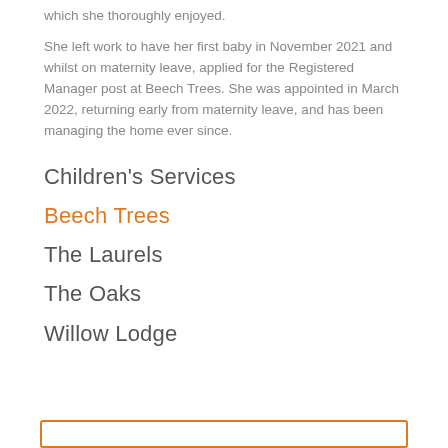which she thoroughly enjoyed.
She left work to have her first baby in November 2021 and whilst on maternity leave, applied for the Registered Manager post at Beech Trees. She was appointed in March 2022, returning early from maternity leave, and has been managing the home ever since.
Children's Services
Beech Trees
The Laurels
The Oaks
Willow Lodge